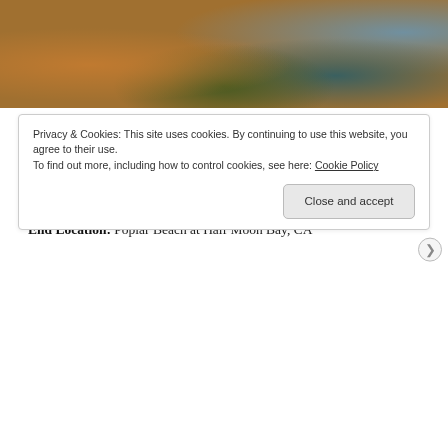[Figure (photo): Outdoor photo showing autumn leaves on ground, wooden posts/structures, shrubs, sandy beach area, and ocean/water in the background on the right side.]
Event Date:  TBD – Event reschedule for later date
Start Time: 7:30 AM
Start Location: LAH Purissima Fields, Los Altos Hills, CA
End Location: Poplar Beach at Half Moon Bay, CA
Privacy & Cookies: This site uses cookies. By continuing to use this website, you agree to their use.
To find out more, including how to control cookies, see here: Cookie Policy
Close and accept